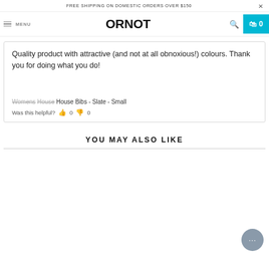FREE SHIPPING ON DOMESTIC ORDERS OVER $150
[Figure (logo): ORNOT brand logo in bold black sans-serif text]
Quality product with attractive (and not at all obnoxious!) colours. Thank you for doing what you do!
Womens House Bibs - Slate - Small
Was this helpful? 0 0
YOU MAY ALSO LIKE